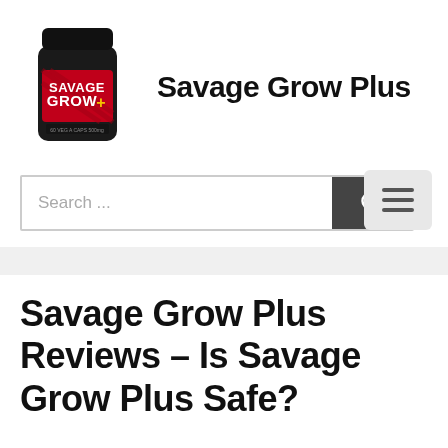[Figure (photo): Product bottle of Savage Grow Plus supplement with black container and red label]
Savage Grow Plus
[Figure (other): Hamburger menu button icon with three horizontal lines]
Search ...
Savage Grow Plus Reviews – Is Savage Grow Plus Safe?